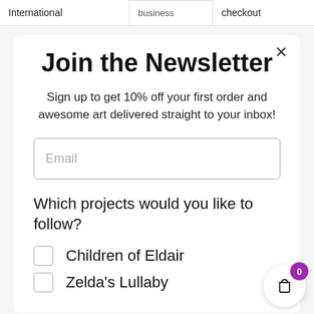International | [business] | checkout
Join the Newsletter
Sign up to get 10% off your first order and awesome art delivered straight to your inbox!
Email
Which projects would you like to follow?
Children of Eldair
Zelda's Lullaby